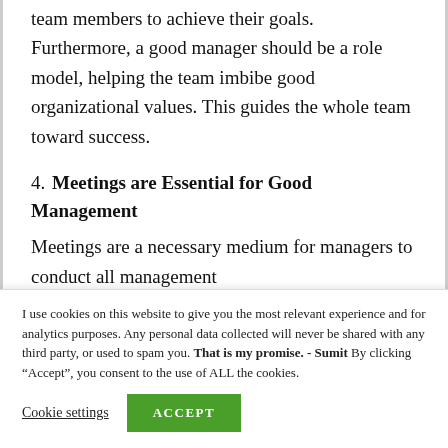team members to achieve their goals. Furthermore, a good manager should be a role model, helping the team imbibe good organizational values. This guides the whole team toward success.
4. Meetings are Essential for Good Management
Meetings are a necessary medium for managers to conduct all management
I use cookies on this website to give you the most relevant experience and for analytics purposes. Any personal data collected will never be shared with any third party, or used to spam you. That is my promise. - Sumit By clicking “Accept”, you consent to the use of ALL the cookies.
Cookie settings  ACCEPT